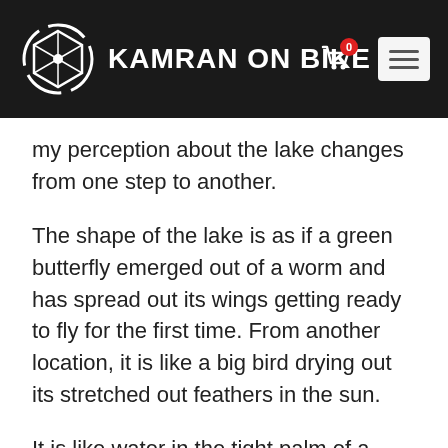KAMRAN ON BIKE
my perception about the lake changes from one step to another.
The shape of the lake is as if a green butterfly emerged out of a worm and has spread out its wings getting ready to fly for the first time. From another location, it is like a big bird drying out its stretched out feathers in the sun.
It is like water in the tight palm of a child. Or maybe, it is the eye of the earth which gazes at the stars in the sky all day and night. The say,